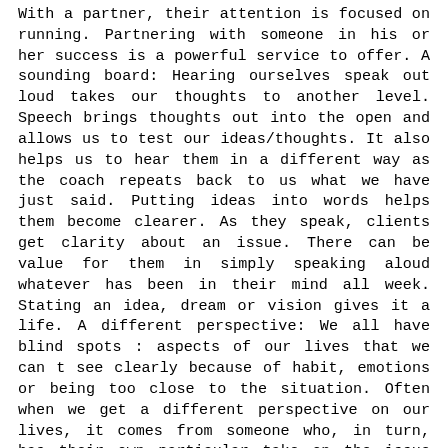With a partner, their attention is focused on running. Partnering with someone in his or her success is a powerful service to offer. A sounding board: Hearing ourselves speak out loud takes our thoughts to another level. Speech brings thoughts out into the open and allows us to test our ideas/thoughts. It also helps us to hear them in a different way as the coach repeats back to us what we have just said. Putting ideas into words helps them become clearer. As they speak, clients get clarity about an issue. There can be value for them in simply speaking aloud whatever has been in their mind all week. Stating an idea, dream or vision gives it a life. A different perspective: We all have blind spots : aspects of our lives that we can t see clearly because of habit, emotions or being too close to the situation. Often when we get a different perspective on our lives, it comes from someone who, in turn, has their own particular take on the issue based on their habits, emotions and relationship with us. Having someone who is both an objective third person and trustworthy is a winning combination. Your life experience: No matter who you are, you ve learned things that could be helpful to someone else. There are things you ve learned along the way that will allow you to empathise with